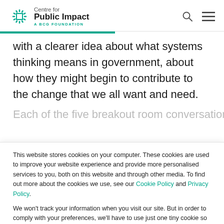Centre for Public Impact — A BCG Foundation
with a clearer idea about what systems thinking means in government, about how they might begin to contribute to the change that we all want and need.
Each of the five breakout room conversations were
This website stores cookies on your computer. These cookies are used to improve your website experience and provide more personalised services to you, both on this website and through other media. To find out more about the cookies we use, see our Cookie Policy and Privacy Policy.

We won't track your information when you visit our site. But in order to comply with your preferences, we'll have to use just one tiny cookie so that you're not asked to make this choice again.